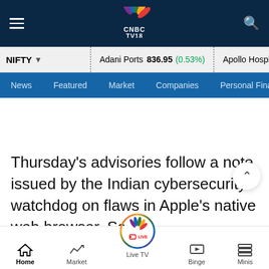CNBC TV18 - Navigation bar with logo, hamburger menu, and search icon
NIFTY  |  Adani Ports 836.95 (0.53%)  |  Apollo Hospital 4215.95 (3.5...)
News  Featured  Market  Companies  Personal Finance
Thursday's advisories follow a note issued by the Indian cybersecurity watchdog on flaws in Apple's native web browser, Safari.
Home  Market  Live TV  Binge  Minis